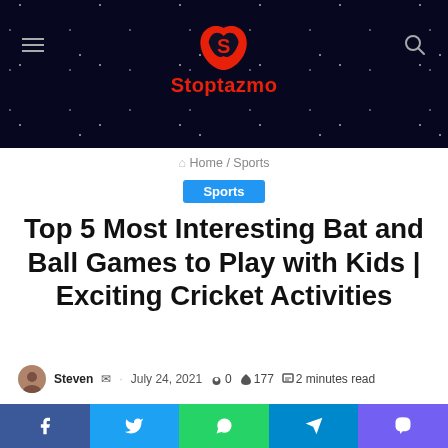Stoptazmo
Home / Sports
Sports
Top 5 Most Interesting Bat and Ball Games to Play with Kids | Exciting Cricket Activities
Steven · July 24, 2021 · 0 · 177 · 2 minutes read
Facebook Twitter WhatsApp Telegram Viber